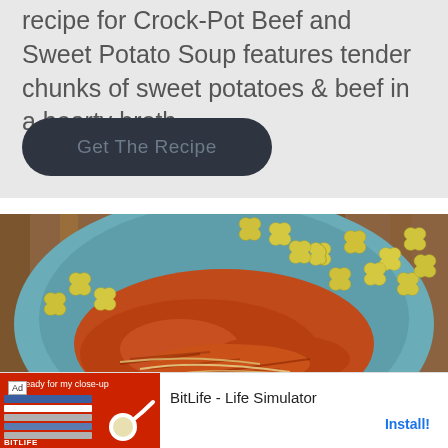recipe for Crock-Pot Beef and Sweet Potato Soup features tender chunks of sweet potatoes & beef in a hearty broth.
Get The Recipe
[Figure (photo): Close-up photo of a blue plate with fusilli pasta and a tomato-based meat sauce on a wooden table.]
[Figure (screenshot): Advertisement banner for BitLife - Life Simulator app with red background, sperm logo, and Install button.]